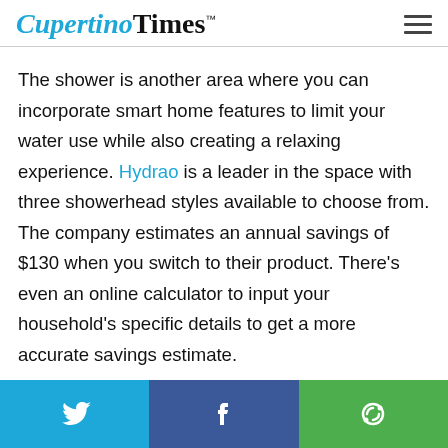CupertinoTimes™
The shower is another area where you can incorporate smart home features to limit your water use while also creating a relaxing experience. Hydrao is a leader in the space with three showerhead styles available to choose from. The company estimates an annual savings of $130 when you switch to their product. There's even an online calculator to input your household's specific details to get a more accurate savings estimate.